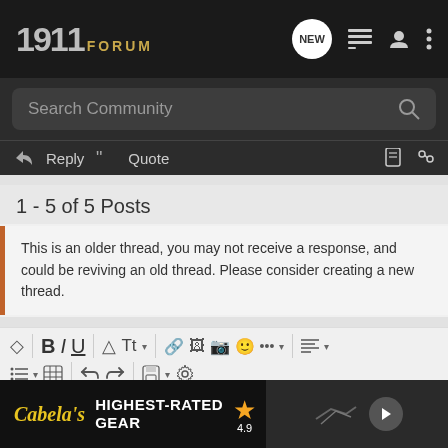1911 FORUM
Search Community
Reply  Quote
1 - 5 of 5 Posts
This is an older thread, you may not receive a response, and could be reviving an old thread. Please consider creating a new thread.
Write your reply...
[Figure (screenshot): Cabelas HIGHEST-RATED GEAR advertisement banner with 4.9 star rating]